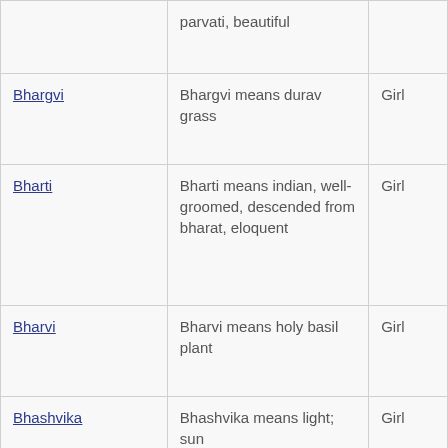| Name | Meaning | Gender |
| --- | --- | --- |
|  | parvati, beautiful |  |
| Bhargvi | Bhargvi means durav grass | Girl |
| Bharti | Bharti means indian, well-groomed, descended from bharat, eloquent | Girl |
| Bharvi | Bharvi means holy basil plant | Girl |
| Bhashvika | Bhashvika means light; sun | Girl |
| Bhashwini | Bhashwini means meaningful | Girl |
|  |  |  |